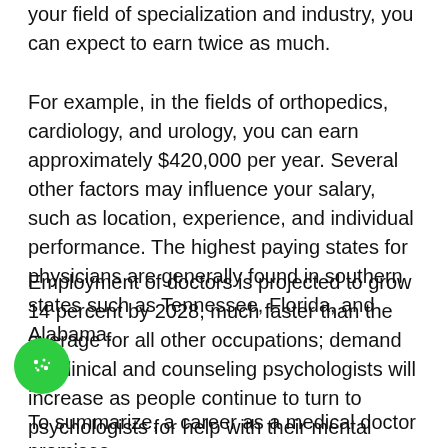your field of specialization and industry, you can expect to earn twice as much.
For example, in the fields of orthopedics, cardiology, and urology, you can earn approximately $420,000 per year. Several other factors may influence your salary, such as location, experience, and individual performance. The highest paying states for physicians are generally found in southern states such as Tennessee, Florida, and Alabama.
Employment of doctors is projected to grow 14 percent by 2028, much faster than the average for all other occupations; demand for clinical and counseling psychologists will increase as people continue to turn to psychologists for help with their mental health problems.
To summarize, a career as a medical doctor promises